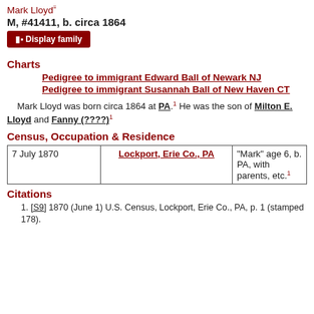Mark Lloyd
M, #41411, b. circa 1864
Display family
Charts
Pedigree to immigrant Edward Ball of Newark NJ
Pedigree to immigrant Susannah Ball of New Haven CT
Mark Lloyd was born circa 1864 at PA.1 He was the son of Milton E. Lloyd and Fanny (????)1
Census, Occupation & Residence
| Date | Location | Notes |
| --- | --- | --- |
| 7 July 1870 | Lockport, Erie Co., PA | "Mark" age 6, b. PA, with parents, etc.1 |
Citations
[S9] 1870 (June 1) U.S. Census, Lockport, Erie Co., PA, p. 1 (stamped 178).